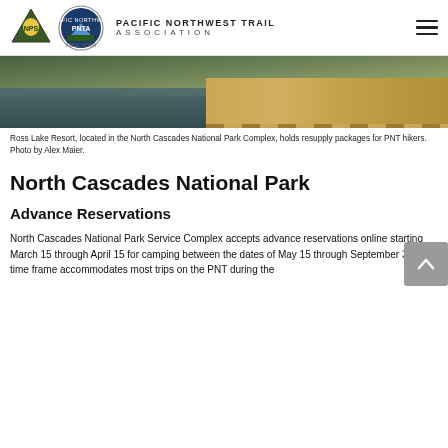PACIFIC NORTHWEST TRAIL ASSOCIATION
[Figure (photo): Ross Lake Resort dock and water view in North Cascades National Park Complex]
Ross Lake Resort, located in the North Cascades National Park Complex, holds resupply packages for PNT hikers. Photo by Alex Maier.
North Cascades National Park
Advance Reservations
North Cascades National Park Service Complex accepts advance reservations online starting March 15 through April 15 for camping between the dates of May 15 through September 30. This time frame accommodates most trips on the PNT during the